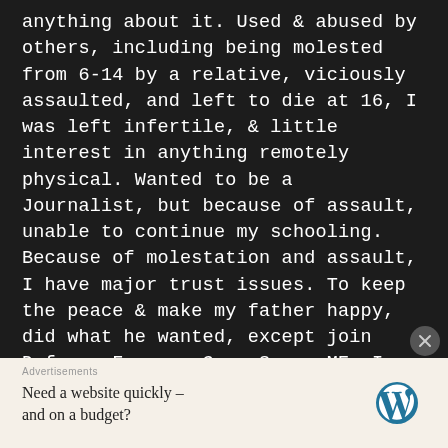anything about it. Used & abused by others, including being molested from 6-14 by a relative, viciously assaulted, and left to die at 16, I was left infertile, & little interest in anything remotely physical. Wanted to be a Journalist, but because of assault, unable to continue my schooling. Because of molestation and assault, I have major trust issues. To keep the peace & make my father happy, did what he wanted, except join Defence Forces, Guns Scare ME. I have written & Self-Published 11 eBooks, Link below. I moved to Melbourne
Advertisements
Need a website quickly – and on a budget?